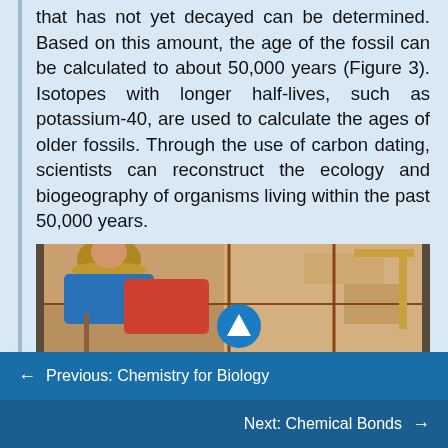that has not yet decayed can be determined. Based on this amount, the age of the fossil can be calculated to about 50,000 years (Figure 3). Isotopes with longer half-lives, such as potassium-40, are used to calculate the ages of older fossils. Through the use of carbon dating, scientists can reconstruct the ecology and biogeography of organisms living within the past 50,000 years.
[Figure (photo): Photograph of archaeologists excavating at a dig site, with wooden grid frames visible and people crouching over the ground.]
← Previous: Chemistry for Biology
Next: Chemical Bonds →